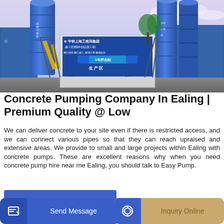[Figure (photo): Industrial concrete batching plant with large blue cylindrical silos, steel framework, a white building with Chinese language signage (中铁上海工程局集团), blue fencing in background, and construction equipment. Daytime photo with cloudy sky.]
Concrete Pumping Company In Ealing | Premium Quality @ Low
We can deliver concrete to your site even if there is restricted access, and we can connect various pipes so that they can reach upraised and extensive areas. We provide to small and large projects within Ealing with concrete pumps. These are excellent reasons why when you need concrete pump hire near me Ealing, you should talk to Easy Pump.
GET A QUOTE
Send Message
Inquiry Online